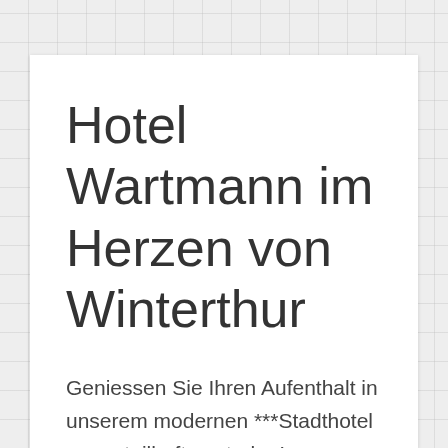Hotel Wartmann im Herzen von Winterthur
Geniessen Sie Ihren Aufenthalt in unserem modernen ***Stadthotel an vorteilhaft zentraler Lage direkt beim Bahnhof Winterthur. Sie erwarten einladende und...